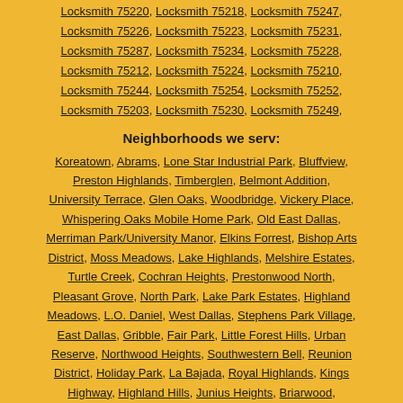Locksmith 75220, Locksmith 75218, Locksmith 75247, Locksmith 75226, Locksmith 75223, Locksmith 75231, Locksmith 75287, Locksmith 75234, Locksmith 75228, Locksmith 75212, Locksmith 75224, Locksmith 75210, Locksmith 75244, Locksmith 75254, Locksmith 75252, Locksmith 75203, Locksmith 75230, Locksmith 75249,
Neighborhoods we serv:
Koreatown, Abrams, Lone Star Industrial Park, Bluffview, Preston Highlands, Timberglen, Belmont Addition, University Terrace, Glen Oaks, Woodbridge, Vickery Place, Whispering Oaks Mobile Home Park, Old East Dallas, Merriman Park/University Manor, Elkins Forrest, Bishop Arts District, Moss Meadows, Lake Highlands, Melshire Estates, Turtle Creek, Cochran Heights, Prestonwood North, Pleasant Grove, North Park, Lake Park Estates, Highland Meadows, L.O. Daniel, West Dallas, Stephens Park Village, East Dallas, Gribble, Fair Park, Little Forest Hills, Urban Reserve, Northwood Heights, Southwestern Bell, Reunion District, Holiday Park, La Bajada, Royal Highlands, Kings Highway, Highland Hills, Junius Heights, Briarwood,